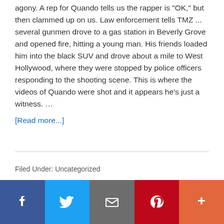agony. A rep for Quando tells us the rapper is "OK," but then clammed up on us. Law enforcement tells TMZ ... several gunmen drove to a gas station in Beverly Grove and opened fire, hitting a young man. His friends loaded him into the black SUV and drove about a mile to West Hollywood, where they were stopped by police officers responding to the shooting scene. This is where the videos of Quando were shot and it appears he's just a witness. …
[Read more...]
Filed Under: Uncategorized